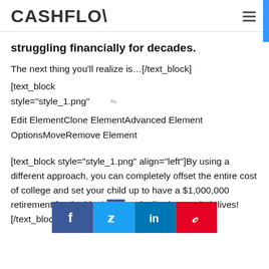CASHFLOW
struggling financially for decades.
The next thing you'll realize is…[/text_block]
[text_block
style="style_1.png"
Edit ElementClone ElementAdvanced Element OptionsMoveRemove Element
[text_block style="style_1.png" align="left"]By using a different approach, you can completely offset the entire cost of college and set your child up to have a $1,000,000 retirement fund. This dramatically change their lives![/text_block]